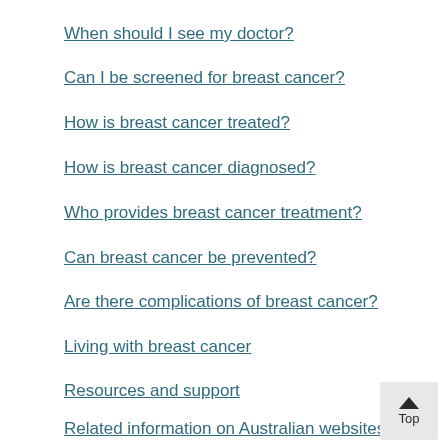When should I see my doctor?
Can I be screened for breast cancer?
How is breast cancer treated?
How is breast cancer diagnosed?
Who provides breast cancer treatment?
Can breast cancer be prevented?
Are there complications of breast cancer?
Living with breast cancer
Resources and support
Related information on Australian websites